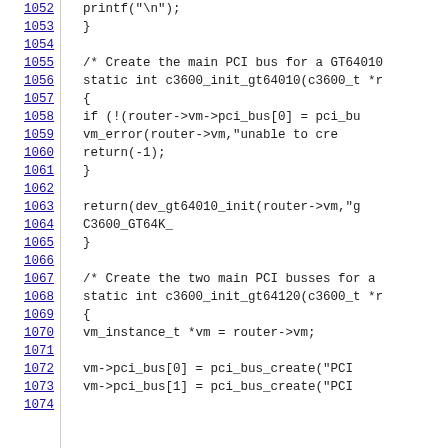Source code listing lines 1052-1074 showing C code for PCI bus initialization functions for GT64010 and GT64120 chipsets